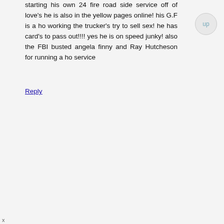starting his own 24 fire road side service off of love's he is also in the yellow pages online! his G.F is a ho working the trucker's try to sell sex! he has card's to pass out!!!! yes he is on speed junky! also the FBI busted angela finny and Ray Hutcheson for running a ho service
Reply